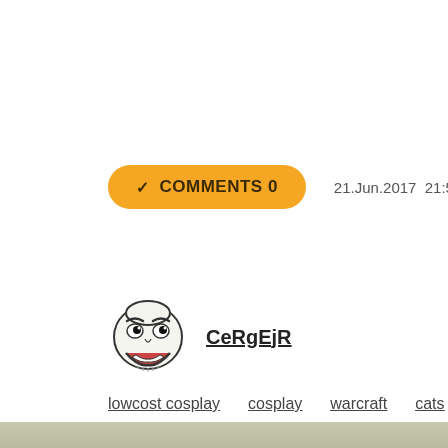COMMENTS 0   21.Jun.2017 21:55   link
CeRgEjR
lowcost cosplay   cosplay   warcraft   cats   cospobre
[Figure (photo): Blurred landscape or sky background at bottom of page]